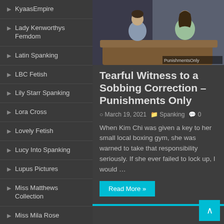KyaasEmpire
Lady Kenworthys Femdom
Latin Spanking
LBC Fetish
Lily Starr Spanking
Lora Cross
Lovely Fetish
Lucy Into Spanking
Lupus Pictures
Miss Matthews Collection
Miss Mila Rose
Miss Sultrybelle
MissLiLu
[Figure (photo): Two people sitting on a brown couch, a man in blue shirt and a woman in light green top]
Tearful Witness to a Sobbing Correction – Punishments Only
March 19, 2021   Spanking   0
When Kim Chi was given a key to her small local boxing gym, she was warned to take that responsibility seriously. If she ever failed to lock up, I would …
Read More »